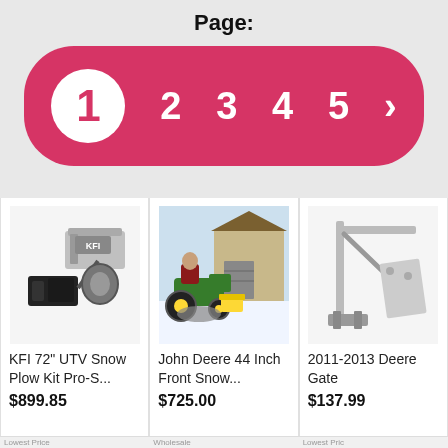Page:
[Figure (infographic): Pagination bar with pink/crimson rounded rectangle background. Page 1 is active (white circle with pink number). Pages 2, 3, 4, 5 and a right arrow chevron are shown in white text.]
[Figure (photo): KFI 72 inch UTV Snow Plow Kit Pro-S product image showing metal plow blade and mounting brackets on white background.]
KFI 72" UTV Snow Plow Kit Pro-S...
$899.85
[Figure (photo): John Deere 44 Inch Front Snow plow product image showing a person on a green John Deere tractor plowing snow in front of a building.]
John Deere 44 Inch Front Snow...
$725.00
[Figure (photo): 2011-2013 Deere Gate product image showing a metal frame/bracket assembly on white background, partially cropped.]
2011-2013 Deere Gate
$137.99